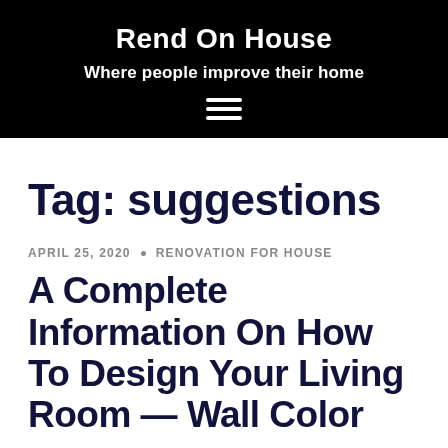Rend On House
Where people improve their home
Tag: suggestions
APRIL 25, 2020 · RENOVATION FOR HOUSE
A Complete Information On How To Design Your Living Room — Wall Color